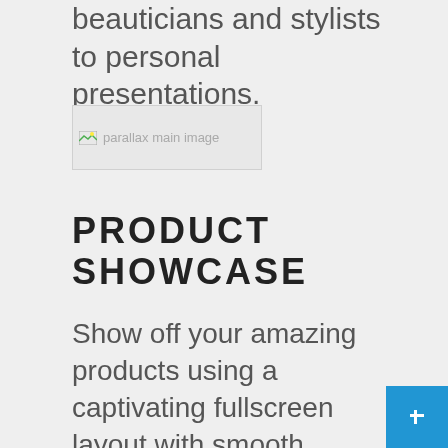beauticians and stylists to personal presentations.
[Figure (photo): Broken image placeholder labeled 'parallax main image']
PRODUCT SHOWCASE
Show off your amazing products using a captivating fullscreen layout with smooth sliding animations. For the perfect storytelling experience